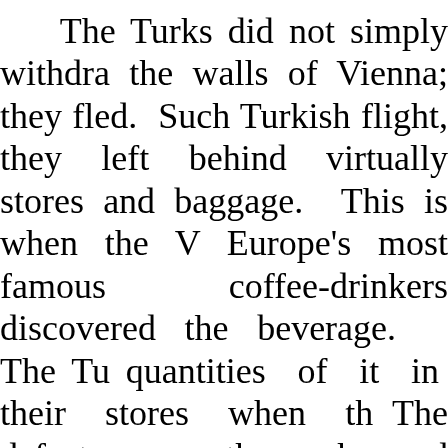The Turks did not simply withdraw the walls of Vienna; they fled. Such Turkish flight, they left behind virtually stores and baggage. This is when the Vienna Europe's most famous coffee-drinkers discovered the beverage. The Turks quantities of it in their stores when they fled. The defeat was thorough and humiliating. Turks left quantities of it in their stores as they fled. See http://catholicism.org/ad-45.html https://en.wikipedia.org/wiki/Battle_of_Vienna Some great videos and an exciting movie https://www.youtube.com/watch?v=pc-